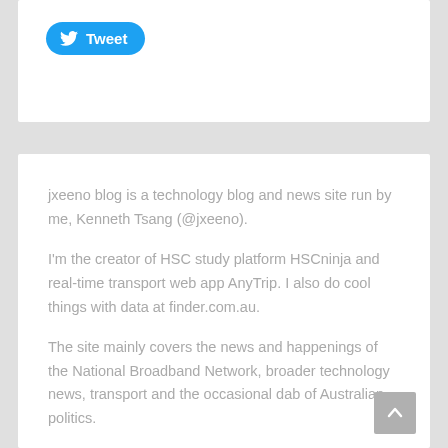[Figure (screenshot): Tweet button — blue rounded button with Twitter bird icon and 'Tweet' label]
jxeeno blog is a technology blog and news site run by me, Kenneth Tsang (@jxeeno).
I'm the creator of HSC study platform HSCninja and real-time transport web app AnyTrip. I also do cool things with data at finder.com.au.
The site mainly covers the news and happenings of the National Broadband Network, broader technology news, transport and the occasional dab of Australian politics.
[Figure (screenshot): Follow @jxeeno button — blue rounded button with Twitter bird icon and 'Follow @jxeeno' label]